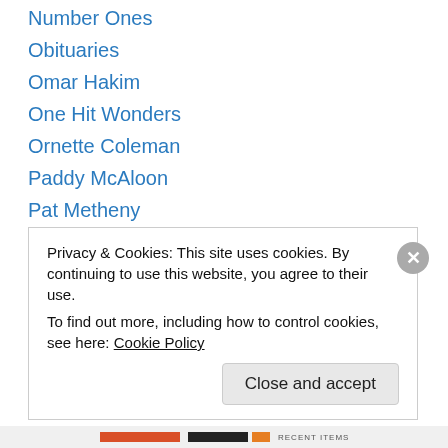Number Ones
Obituaries
Omar Hakim
One Hit Wonders
Ornette Coleman
Paddy McAloon
Pat Metheny
Paul McCartney
Paul Simon
Peter Gabriel
Pharrell
Phil Collins
Phil Gould
Privacy & Cookies: This site uses cookies. By continuing to use this website, you agree to their use.
To find out more, including how to control cookies, see here: Cookie Policy
RECENT ITEMS